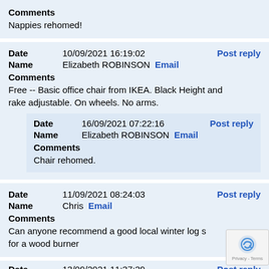Comments
Nappies rehomed!
Date   10/09/2021 16:19:02   Post reply
Name   Elizabeth ROBINSON  Email
Comments
Free -- Basic office chair from IKEA. Black Height and rake adjustable. On wheels. No arms.
Date   16/09/2021 07:22:16   Post reply
Name   Elizabeth ROBINSON  Email
Comments
Chair rehomed.
Date   11/09/2021 08:24:03   Post reply
Name   Chris  Email
Comments
Can anyone recommend a good local winter log su for a wood burner
Date   13/09/2021 11:37:39   Post reply